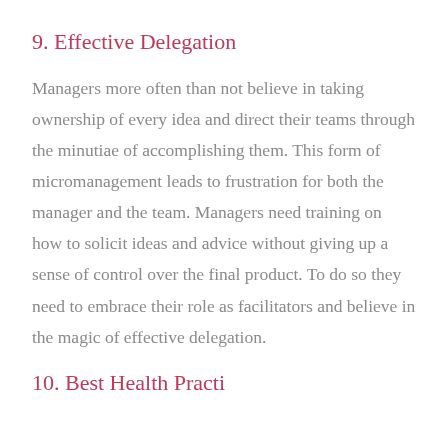9. Effective Delegation
Managers more often than not believe in taking ownership of every idea and direct their teams through the minutiae of accomplishing them. This form of micromanagement leads to frustration for both the manager and the team. Managers need training on how to solicit ideas and advice without giving up a sense of control over the final product. To do so they need to embrace their role as facilitators and believe in the magic of effective delegation.
10. Best Health Practices